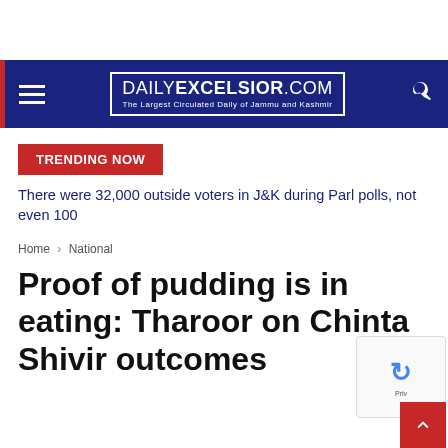DAILYEXCELSIOR.COM — The Largest Circulated Daily of Jammu and Kashmir
TRENDING NOW
There were 32,000 outside voters in J&K during Parl polls, not even 100
E-Paper
Home › National
Proof of pudding is in eating: Tharoor on Chinta Shivir outcomes